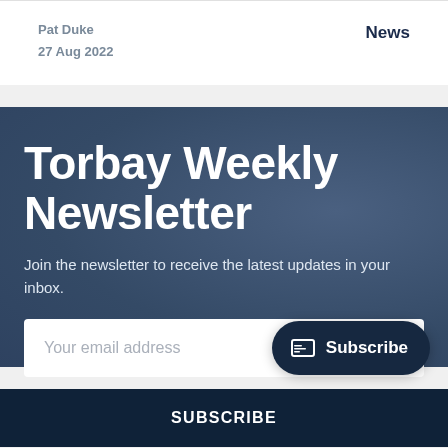Pat Duke
27 Aug 2022
News
Torbay Weekly Newsletter
Join the newsletter to receive the latest updates in your inbox.
Your email address
Subscribe
Subscribe